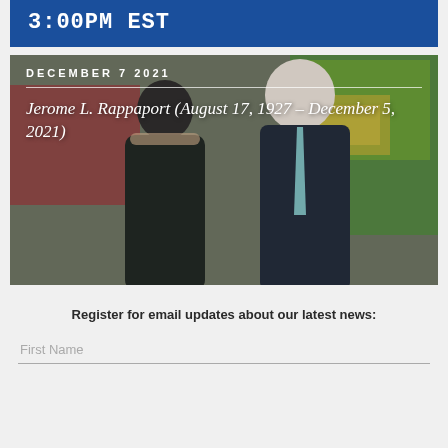3:00PM EST
[Figure (photo): Photo of a woman and an older man standing together in front of colorful artwork. The woman is on the left wearing a dark outfit with pearls; the man on the right is wearing a dark suit with a light blue tie. Text overlay reads: DECEMBER 7 2021 / Jerome L. Rappaport (August 17, 1927 – December 5, 2021)]
Register for email updates about our latest news:
First Name